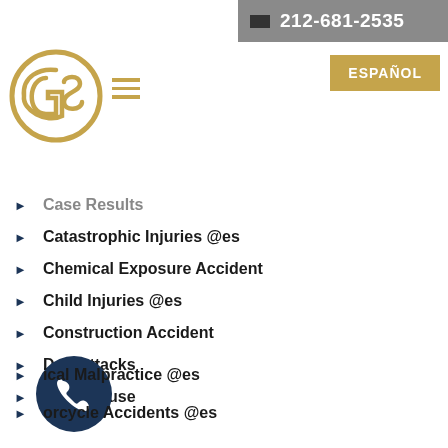212-681-2535
[Figure (logo): Greenberg & Stein law firm circular logo in gold]
ESPAÑOL
Case Results
Catastrophic Injuries @es
Chemical Exposure Accident
Child Injuries @es
Construction Accident
Dog Attacks
Elder Abuse
Greenberg & Stein
Industrial Injury
ical Malpractice @es
orcycle Accidents @es